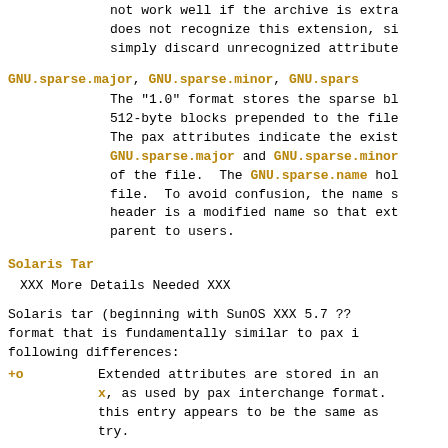not work well if the archive is extra... does not recognize this extension, si... simply discard unrecognized attribute...
GNU.sparse.major, GNU.sparse.minor, GNU.spars...
The "1.0" format stores the sparse bl... 512-byte blocks prepended to the file... The pax attributes indicate the exist... GNU.sparse.major and GNU.sparse.minor... of the file. The GNU.sparse.name ho... file. To avoid confusion, the name s... header is a modified name so that ext... parent to users.
Solaris Tar
XXX More Details Needed XXX
Solaris tar (beginning with SunOS XXX 5.7 ?? format that is fundamentally similar to pax i... following differences:
+o  Extended attributes are stored in an... x, as used by pax interchange format... this entry appears to be the same as... try.
+o  An additional A header is used to sto... regular entry. The body of this entr... tal number followed by a zero byte, f... description. The octal value is the...